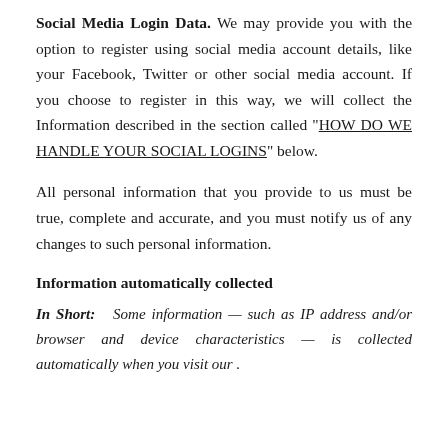Social Media Login Data. We may provide you with the option to register using social media account details, like your Facebook, Twitter or other social media account. If you choose to register in this way, we will collect the Information described in the section called "HOW DO WE HANDLE YOUR SOCIAL LOGINS" below.
All personal information that you provide to us must be true, complete and accurate, and you must notify us of any changes to such personal information.
Information automatically collected
In Short: Some information — such as IP address and/or browser and device characteristics — is collected automatically when you visit our .